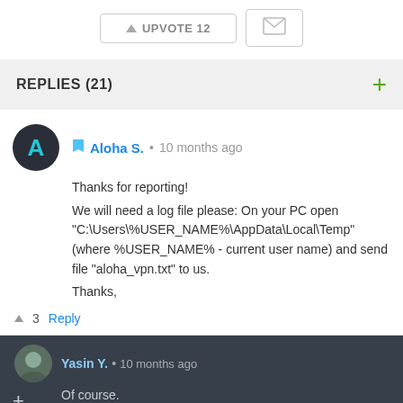[Figure (screenshot): Upvote button showing count 12 and mail/envelope icon button]
REPLIES (21)
Aloha S. • 10 months ago
Thanks for reporting!
We will need a log file please: On your PC open "C:\Users\%USER_NAME%\AppData\Local\Temp" (where %USER_NAME% - current user name) and send file "aloha_vpn.txt" to us.
Thanks,
▲ 3   Reply
Yasin Y. • 10 months ago
Of course.